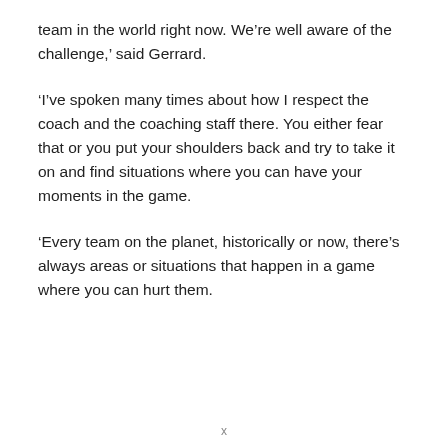team in the world right now. We’re well aware of the challenge,’ said Gerrard.
‘I’ve spoken many times about how I respect the coach and the coaching staff there. You either fear that or you put your shoulders back and try to take it on and find situations where you can have your moments in the game.
‘Every team on the planet, historically or now, there’s always areas or situations that happen in a game where you can hurt them.
x